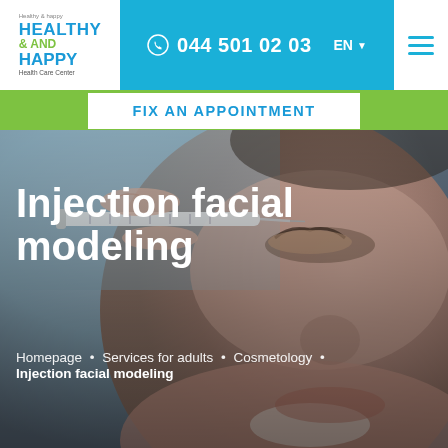HEALTHY & AND HAPPY Health Care Center — 044 501 02 03 — EN
FIX AN APPOINTMENT
[Figure (photo): Close-up photo of a woman receiving a facial injection near the eye area from a medical professional's hands holding a syringe. Background is blurred with brownish-grey tones.]
Injection facial modeling
Homepage • Services for adults • Cosmetology • Injection facial modeling